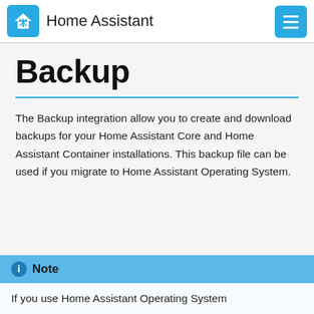Home Assistant
Backup
The Backup integration allow you to create and download backups for your Home Assistant Core and Home Assistant Container installations. This backup file can be used if you migrate to Home Assistant Operating System.
Note
If you use Home Assistant Operating System